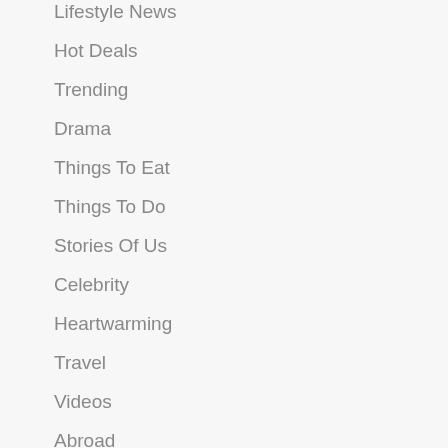Lifestyle News
Hot Deals
Trending
Drama
Things To Eat
Things To Do
Stories Of Us
Celebrity
Heartwarming
Travel
Videos
Abroad
Weekend
Environment
+ More
Parliament
Perspectives